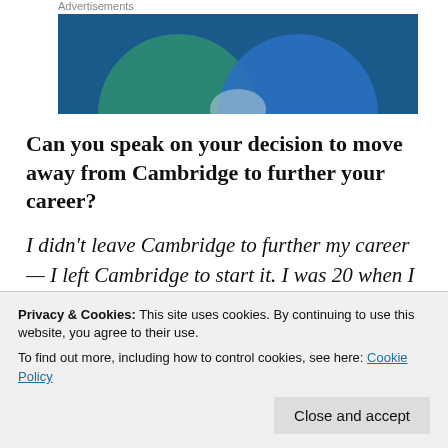Advertisements
[Figure (illustration): Advertisement banner with overlapping blue and teal circles on a dark blue background]
Can you speak on your decision to move away from Cambridge to further your career?
I didn't leave Cambridge to further my career — I left Cambridge to start it. I was 20 when I moved to New
Privacy & Cookies: This site uses cookies. By continuing to use this website, you agree to their use.
To find out more, including how to control cookies, see here: Cookie Policy
in Williamsburg and he offered me a bed upstairs if I'd